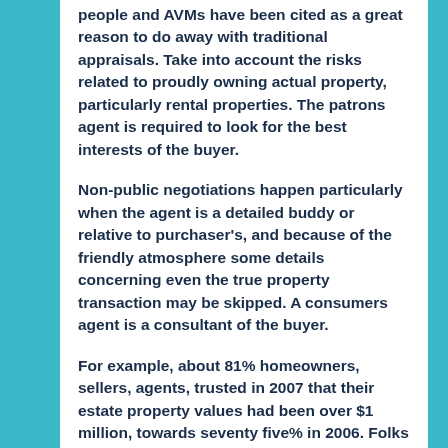people and AVMs have been cited as a great reason to do away with traditional appraisals. Take into account the risks related to proudly owning actual property, particularly rental properties. The patrons agent is required to look for the best interests of the buyer.
Non-public negotiations happen particularly when the agent is a detailed buddy or relative to purchaser's, and because of the friendly atmosphere some details concerning even the true property transaction may be skipped. A consumers agent is a consultant of the buyer.
For example, about 81% homeowners, sellers, agents, trusted in 2007 that their estate property values had been over $1 million, towards seventy five% in 2006. Folks in this camp do not belief dwelling proprietor's and personal property homeowners to handle their real estate responsibly.